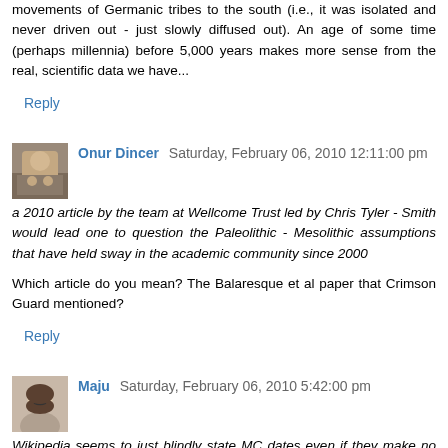movements of Germanic tribes to the south (i.e., it was isolated and never driven out - just slowly diffused out). An age of some time (perhaps millennia) before 5,000 years makes more sense from the real, scientific data we have...
Reply
Onur Dincer  Saturday, February 06, 2010 12:11:00 pm
a 2010 article by the team at Wellcome Trust led by Chris Tyler - Smith would lead one to question the Paleolithic - Mesolithic assumptions that have held sway in the academic community since 2000
Which article do you mean? The Balaresque et al paper that Crimson Guard mentioned?
Reply
Maju  Saturday, February 06, 2010 5:42:00 pm
Wikipedia seems to just blindly state MC dates even if they make no sense, whatsoever.